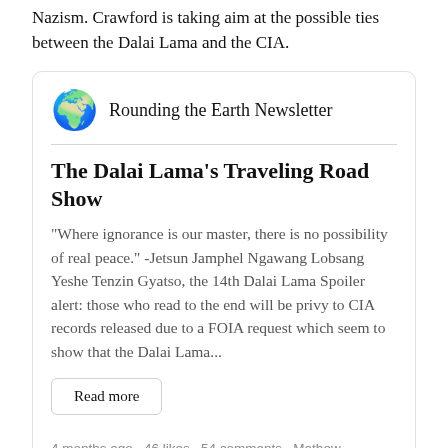Nazism. Crawford is taking aim at the possible ties between the Dalai Lama and the CIA.
[Figure (other): Newsletter card for 'Rounding the Earth Newsletter' with globe emoji icon, article title 'The Dalai Lama's Traveling Road Show', article preview text, a 'Read more' button, and metadata showing '4 months ago · 46 likes · 54 comments · Mathew Crawford']
The Dalai Lama's Traveling Road Show
"Where ignorance is our master, there is no possibility of real peace." -Jetsun Jamphel Ngawang Lobsang Yeshe Tenzin Gyatso, the 14th Dalai Lama Spoiler alert: those who read to the end will be privy to CIA records released due to a FOIA request which seem to show that the Dalai Lama...
4 months ago · 46 likes · 54 comments · Mathew Crawford